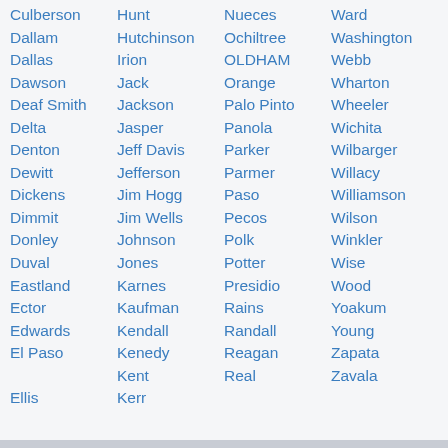Culberson
Dallam
Dallas
Dawson
Deaf Smith
Delta
Denton
Dewitt
Dickens
Dimmit
Donley
Duval
Eastland
Ector
Edwards
El Paso

Ellis
Hunt
Hutchinson
Irion
Jack
Jackson
Jasper
Jeff Davis
Jefferson
Jim Hogg
Jim Wells
Johnson
Jones
Karnes
Kaufman
Kendall
Kenedy
Kent
Kerr
Nueces
Ochiltree
OLDHAM
Orange
Palo Pinto
Panola
Parker
Parmer
Paso
Pecos
Polk
Potter
Presidio
Rains
Randall
Reagan
Real
Ward
Washington
Webb
Wharton
Wheeler
Wichita
Wilbarger
Willacy
Williamson
Wilson
Winkler
Wise
Wood
Yoakum
Young
Zapata
Zavala